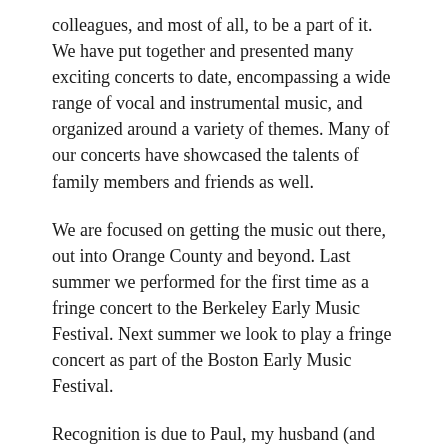colleagues, and most of all, to be a part of it. We have put together and presented many exciting concerts to date, encompassing a wide range of vocal and instrumental music, and organized around a variety of themes. Many of our concerts have showcased the talents of family members and friends as well.
We are focused on getting the music out there, out into Orange County and beyond. Last summer we performed for the first time as a fringe concert to the Berkeley Early Music Festival. Next summer we look to play a fringe concert as part of the Boston Early Music Festival.
Recognition is due to Paul, my husband (and also an avid violinist and violist), for coming up with our name, L'Esprit Baroque (Spirit of the Baroque), which captures perfectly what we are all about.
At this point, with great fellowship, I'd be rambling...